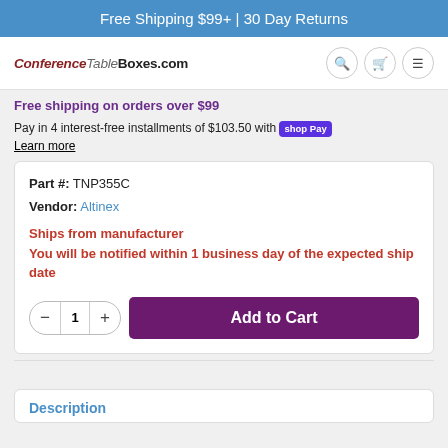Free Shipping $99+ | 30 Day Returns
[Figure (logo): ConferenceTableBoxes.com logo with navigation icons (search, cart, menu)]
Free shipping on orders over $99
Pay in 4 interest-free installments of $103.50 with shop Pay
Learn more
Part #: TNP355C
Vendor: Altinex
Ships from manufacturer
You will be notified within 1 business day of the expected ship date
Description